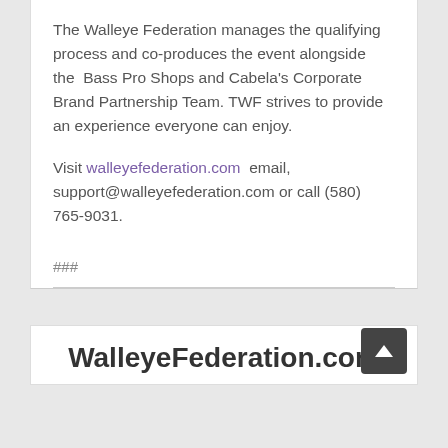The Walleye Federation manages the qualifying process and co-produces the event alongside the  Bass Pro Shops and Cabela's Corporate Brand Partnership Team. TWF strives to provide an experience everyone can enjoy.
Visit walleyefederation.com  email, support@walleyefederation.com or call (580) 765-9031.
###
WalleyeFederation.com